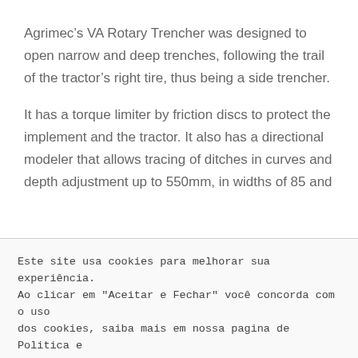Agrimec's VA Rotary Trencher was designed to open narrow and deep trenches, following the trail of the tractor's right tire, thus being a side trencher.
It has a torque limiter by friction discs to protect the implement and the tractor. It also has a directional modeler that allows tracing of ditches in curves and depth adjustment up to 550mm, in widths of 85 and
Este site usa cookies para melhorar sua experiência. Ao clicar em "Aceitar e Fechar" você concorda com o uso dos cookies, saiba mais em nossa pagina de Politica e Privacidade.
Leia mais
Aceitar e Fechar